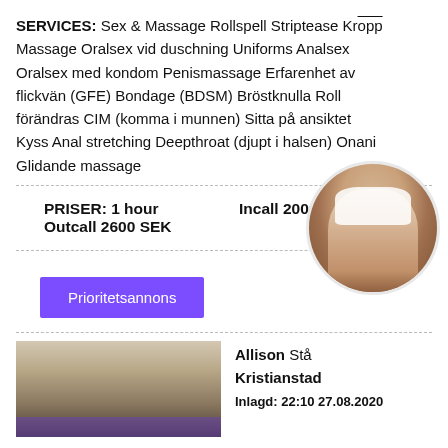SERVICES: Sex & Massage Rollspell Striptease Kropp Massage Oralsex vid duschning Uniforms Analsex Oralsex med kondom Penismassage Erfarenhet av flickvän (GFE) Bondage (BDSM) Bröstknulla Roll förändras CIM (komma i munnen) Sitta på ansiktet Kyss Anal stretching Deepthroat (djupt i halsen) Onani Glidande massage
PRISER: 1 hour Incall 2000 SEK Outcall 2600 SEK
Prioritetsannons
[Figure (photo): Thumbnail photo of a blonde woman]
Allison Sta... Kristianstad Inlagd: 22:10 27.08.2020
[Figure (photo): Circular cropped photo of a woman in white lingerie]